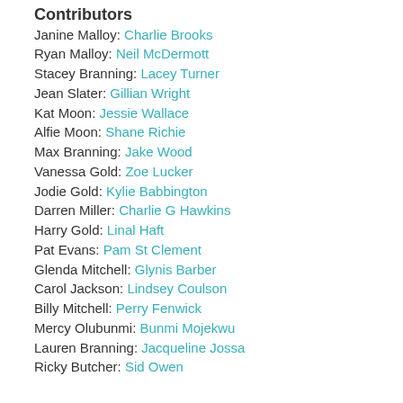Contributors
Janine Malloy: Charlie Brooks
Ryan Malloy: Neil McDermott
Stacey Branning: Lacey Turner
Jean Slater: Gillian Wright
Kat Moon: Jessie Wallace
Alfie Moon: Shane Richie
Max Branning: Jake Wood
Vanessa Gold: Zoe Lucker
Jodie Gold: Kylie Babbington
Darren Miller: Charlie G Hawkins
Harry Gold: Linal Haft
Pat Evans: Pam St Clement
Glenda Mitchell: Glynis Barber
Carol Jackson: Lindsey Coulson
Billy Mitchell: Perry Fenwick
Mercy Olubunmi: Bunmi Mojekwu
Lauren Branning: Jacqueline Jossa
Ricky Butcher: Sid Owen